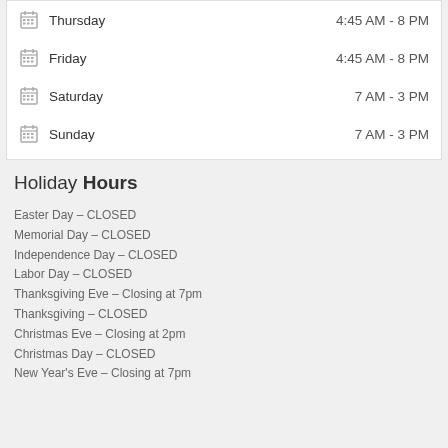Thursday    4:45 AM - 8 PM
Friday    4:45 AM - 8 PM
Saturday    7 AM - 3 PM
Sunday    7 AM - 3 PM
Holiday Hours
Easter Day – CLOSED
Memorial Day – CLOSED
Independence Day – CLOSED
Labor Day – CLOSED
Thanksgiving Eve – Closing at 7pm
Thanksgiving – CLOSED
Christmas Eve – Closing at 2pm
Christmas Day – CLOSED
New Year's Eve – Closing at 7pm